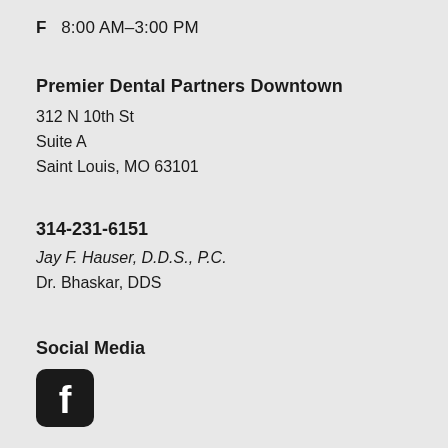F   8:00 AM–3:00 PM
Premier Dental Partners Downtown
312 N 10th St
Suite A
Saint Louis, MO 63101
314-231-6151
Jay F. Hauser, D.D.S., P.C.
Dr. Bhaskar, DDS
Social Media
[Figure (logo): Facebook logo icon — rounded square with white 'f' on dark background]